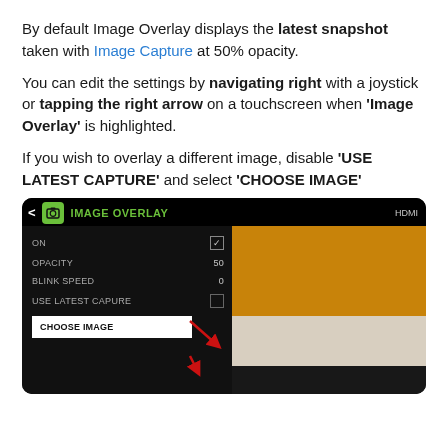By default Image Overlay displays the latest snapshot taken with Image Capture at 50% opacity.
You can edit the settings by navigating right with a joystick or tapping the right arrow on a touchscreen when 'Image Overlay' is highlighted.
If you wish to overlay a different image, disable 'USE LATEST CAPTURE' and select 'CHOOSE IMAGE'
[Figure (screenshot): Screenshot of IMAGE OVERLAY settings menu showing ON (checked), OPACITY 50, BLINK SPEED 0, USE LATEST CAPTURE (unchecked), CHOOSE IMAGE (selected/highlighted) with red arrows pointing to USE LATEST CAPTURE checkbox and CHOOSE IMAGE option. Right side shows a preview image with amber and beige bands.]